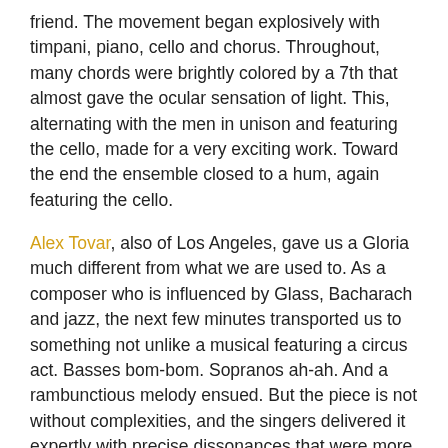friend. The movement began explosively with timpani, piano, cello and chorus. Throughout, many chords were brightly colored by a 7th that almost gave the ocular sensation of light. This, alternating with the men in unison and featuring the cello, made for a very exciting work. Toward the end the ensemble closed to a hum, again featuring the cello.
Alex Tovar, also of Los Angeles, gave us a Gloria much different from what we are used to. As a composer who is influenced by Glass, Bacharach and jazz, the next few minutes transported us to something not unlike a musical featuring a circus act. Basses bom-bom. Sopranos ah-ah. And a rambunctious melody ensued. But the piece is not without complexities, and the singers delivered it expertly with precise dissonances that were more sweet than harsh. Switching from Latin to English and back again, this musically humorous and clever piece was an audience favorite that received well-deserved applause.